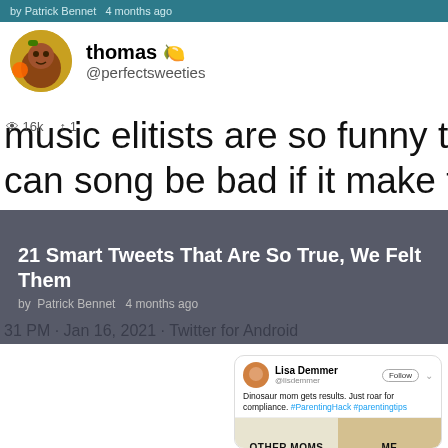by Patrick Bennet  4 months ago
thomas 🍋
@perfectsweeties
music elitists are so funny to me. how can song be bad if it make foot go tap
21 Smart Tweets That Are So True, We Felt Them
by Patrick Bennet  4 months ago
31 PM · Jan 16, 2021 · Twitter for Android
[Figure (screenshot): Tweet screenshot from Lisa Demmer (@lisdemmer) with Follow button, text: 'Dinosaur mom gets results. Just roar for compliance. #ParentingHack #parentingtips', and image below showing 'OTHER MOMS' vs 'ME' comparison]
OTHER MOMS   ME